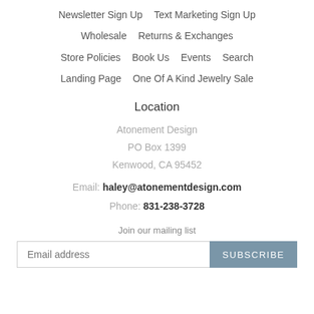Newsletter Sign Up
Text Marketing Sign Up
Wholesale
Returns & Exchanges
Store Policies
Book Us
Events
Search
Landing Page
One Of A Kind Jewelry Sale
Location
Atonement Design
PO Box 1399
Kenwood, CA 95452
Email: haley@atonementdesign.com
Phone: 831-238-3728
Join our mailing list